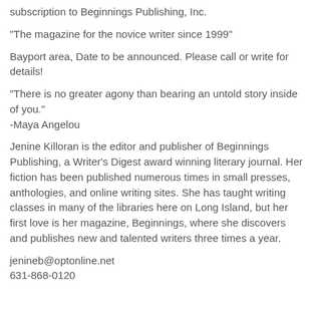subscription to Beginnings Publishing, Inc.
"The magazine for the novice writer since 1999"
Bayport area, Date to be announced. Please call or write for details!
"There is no greater agony than bearing an untold story inside of you."
-Maya Angelou
Jenine Killoran is the editor and publisher of Beginnings Publishing, a Writer's Digest award winning literary journal. Her fiction has been published numerous times in small presses, anthologies, and online writing sites. She has taught writing classes in many of the libraries here on Long Island, but her first love is her magazine, Beginnings, where she discovers and publishes new and talented writers three times a year.
jenineb@optonline.net
631-868-0120